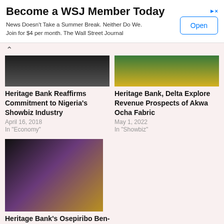[Figure (other): WSJ advertisement banner with 'Become a WSJ Member Today' headline, subtitle text, and Open button]
[Figure (photo): Partial thumbnail image for Heritage Bank Reaffirms Commitment article (dark tones)]
Heritage Bank Reaffirms Commitment to Nigeria's Showbiz Industry
April 16, 2018
In "Economy"
[Figure (photo): Partial thumbnail image for Heritage Bank Delta article (green/yellow tones)]
Heritage Bank, Delta Explore Revenue Prospects of Akwa Ocha Fabric
May 1, 2022
In "Showbiz"
[Figure (photo): Photo of two people at an event with sparkly background for Heritage Bank's Osepiribo Ben-Willie Wins EveAfrique Award article]
Heritage Bank's Osepiribo Ben-Willie Wins EveAfrique Award
May 12, 2022
In "Banking"